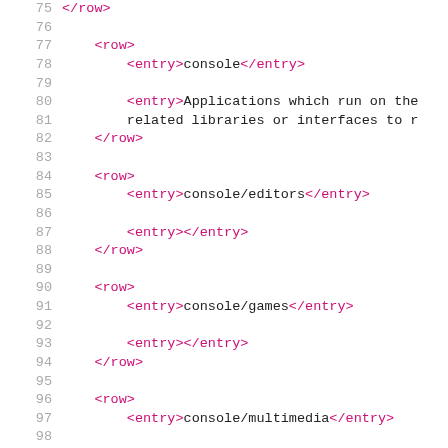XML source code listing showing rows 75-105 with XML entry tags for console categories
75  </row>
76
77  <row>
78    <entry>console</entry>
79
80    <entry>Applications which run on the
81    related libraries or interfaces to r
82  </row>
83
84  <row>
85    <entry>console/editors</entry>
86
87    <entry></entry>
88  </row>
89
90  <row>
91    <entry>console/games</entry>
92
93    <entry></entry>
94  </row>
95
96  <row>
97    <entry>console/multimedia</entry>
98
99    <entry></entry>
100 </row>
101
102 <row>
103   <entry>console/network</entry>
104
105   <entry></entry>